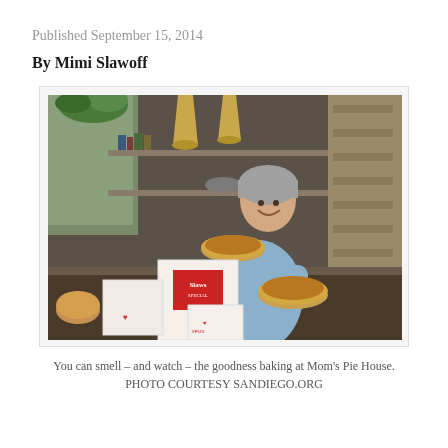Published September 15, 2014
By Mimi Slawoff
[Figure (photo): A woman wearing a light blue long-sleeve shirt and a gray head covering smiles while holding two pies in a bakery kitchen. She stands in front of shelves with kitchen equipment, hanging lights, and stacked trays. In the foreground are white boxes with a red 'Slaws' logo.]
You can smell – and watch – the goodness baking at Mom's Pie House. PHOTO COURTESY SANDIEGO.ORG